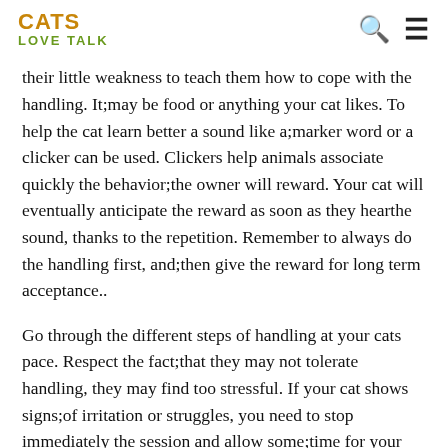CATS LOVE TALK
their little weakness to teach them how to cope with the handling. It;may be food or anything your cat likes. To help the cat learn better a sound like a;marker word or a clicker can be used. Clickers help animals associate quickly the behavior;the owner will reward. Your cat will eventually anticipate the reward as soon as they hearthe sound, thanks to the repetition. Remember to always do the handling first, and;then give the reward for long term acceptance..
Go through the different steps of handling at your cats pace. Respect the fact;that they may not tolerate handling, they may find too stressful. If your cat shows signs;of irritation or struggles, you need to stop immediately the session and allow some;time for your cat to rest. When you start again, go back to previous steps